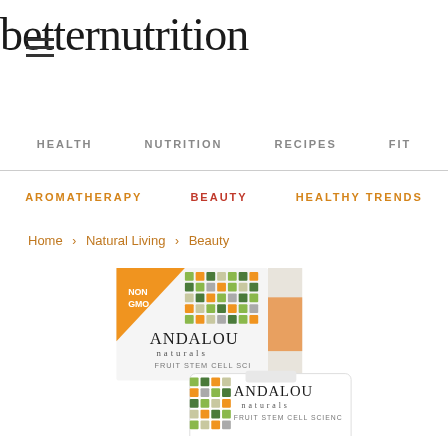betternutrition
HEALTH   NUTRITION   RECIPES   FIT
AROMATHERAPY   BEAUTY   HEALTHY TRENDS
Home > Natural Living > Beauty
[Figure (photo): Andalou Naturals Fruit Stem Cell Science product box and tube with colorful mosaic pattern and Non-GMO badge]